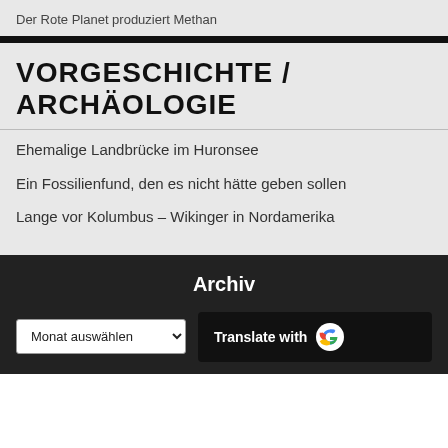Der Rote Planet produziert Methan
VORGESCHICHTE / ARCHÄOLOGIE
Ehemalige Landbrücke im Huronsee
Ein Fossilienfund, den es nicht hätte geben sollen
Lange vor Kolumbus – Wikinger in Nordamerika
Archiv
Monat auswählen
Translate with